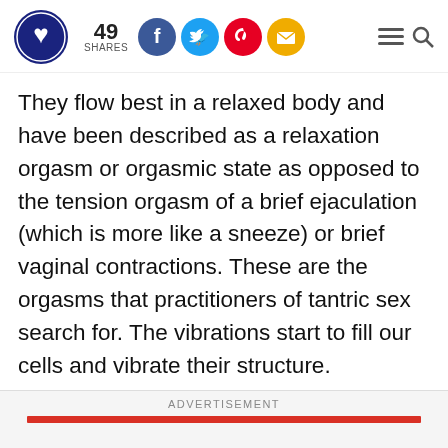49 SHARES [social icons: Facebook, Twitter, Pinterest, Email] [menu icon] [search icon]
They flow best in a relaxed body and have been described as a relaxation orgasm or orgasmic state as opposed to the tension orgasm of a brief ejaculation (which is more like a sneeze) or brief vaginal contractions. These are the orgasms that practitioners of tantric sex search for. The vibrations start to fill our cells and vibrate their structure.
ADVERTISEMENT